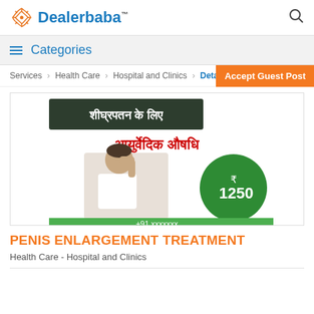Dealerbaba™
≡  Categories
Services › Health Care › Hospital and Clinics › Details
Accept Guest Post
[Figure (photo): Medical advertisement in Hindi showing an ayurvedic medicine for premature ejaculation priced at ₹1250, with an image of a distressed man. Text reads: शीघ्रपतन के लिए आयुर्वेदिक औषधि ₹1250]
PENIS ENLARGEMENT TREATMENT
Health Care - Hospital and Clinics